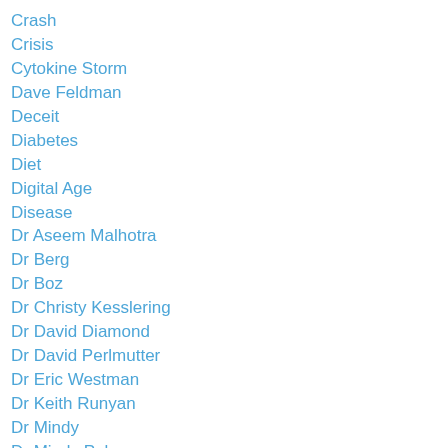Crash
Crisis
Cytokine Storm
Dave Feldman
Deceit
Diabetes
Diet
Digital Age
Disease
Dr Aseem Malhotra
Dr Berg
Dr Boz
Dr Christy Kesslering
Dr David Diamond
Dr David Perlmutter
Dr Eric Westman
Dr Keith Runyan
Dr Mindy
Dr Mindy Pelz
Dr Nick